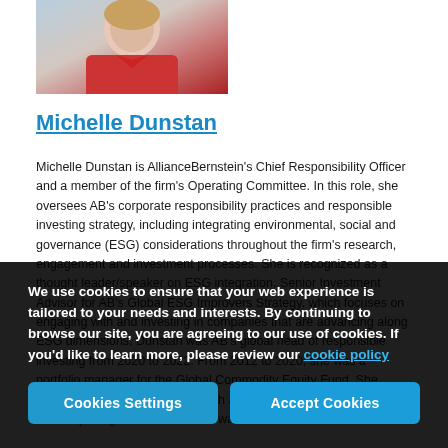[Figure (photo): Headshot of Michelle Dunstan, a woman wearing a red jacket, cropped at the top of the page]
Michelle Dunstan
Michelle Dunstan is AllianceBernstein's Chief Responsibility Officer and a member of the firm's Operating Committee. In this role, she oversees AB's corporate responsibility practices and responsible investing strategy, including integrating environmental, social and governance (ESG) considerations throughout the firm's research, engagement and investment processes. She is recognized as a thought leader/speaker on ESG integration. Senior Investment Advisor for AB's Global ESG Improvers Strategy, which focuses on engaging with and investing in companies that are advancing along ESG dimensions. Dunstan was AB's global head of responsible investing from 2020 to 2022. From 2012 to 2020, she was a portfolio manager for the Global Commodity Equity Fund. She joined the firm in 2008 to research and commodities in... N... years. Prior to joining the firm, Dunstan was an en...
We use cookies to ensure that your web experience is tailored to your needs and interests. By continuing to browse our site, you are agreeing to our use of cookies. If you'd like to learn more, please review our cookie policy
Cookies Settings
Accept Cookies